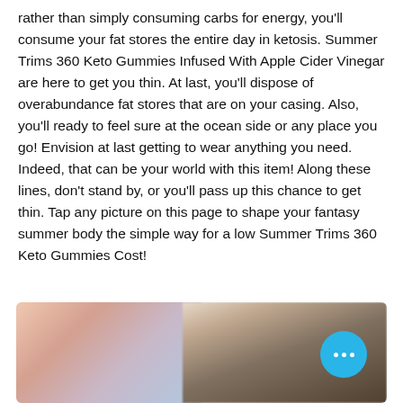rather than simply consuming carbs for energy, you'll consume your fat stores the entire day in ketosis. Summer Trims 360 Keto Gummies Infused With Apple Cider Vinegar are here to get you thin. At last, you'll dispose of overabundance fat stores that are on your casing. Also, you'll ready to feel sure at the ocean side or any place you go! Envision at last getting to wear anything you need. Indeed, that can be your world with this item! Along these lines, don't stand by, or you'll pass up this chance to get thin. Tap any picture on this page to shape your fantasy summer body the simple way for a low Summer Trims 360 Keto Gummies Cost!
[Figure (photo): Blurred photo of a person, partially obscured, with a blue circular more/options button overlay in the bottom right]